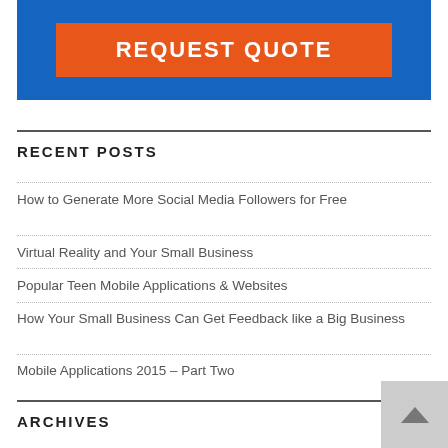[Figure (other): Blue banner with orange REQUEST QUOTE button]
RECENT POSTS
How to Generate More Social Media Followers for Free
Virtual Reality and Your Small Business
Popular Teen Mobile Applications & Websites
How Your Small Business Can Get Feedback like a Big Business
Mobile Applications 2015 – Part Two
ARCHIVES